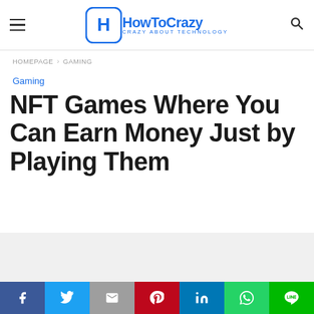HowToCrazy — Crazy About Technology
HOMEPAGE › GAMING
Gaming
NFT Games Where You Can Earn Money Just by Playing Them
[Figure (other): Gray placeholder content area]
Social share bar: Facebook, Twitter, Gmail, Pinterest, LinkedIn, WhatsApp, LINE